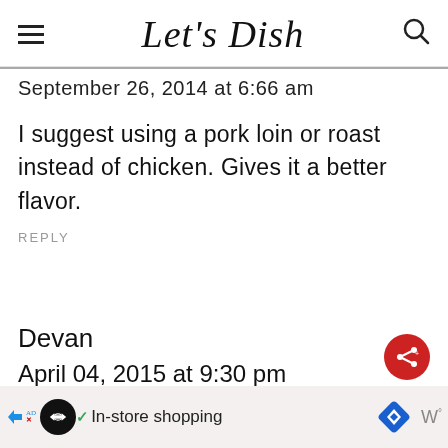Let's Dish
September 26, 2014 at 6:66 am
I suggest using a pork loin or roast instead of chicken. Gives it a better flavor.
REPLY
Devan
April 04, 2015 at 9:30 pm
In-store shopping